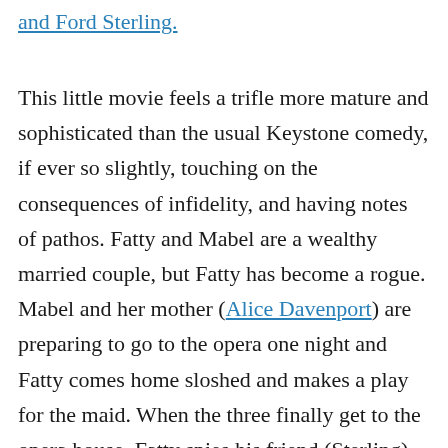and Ford Sterling.
This little movie feels a trifle more mature and sophisticated than the usual Keystone comedy, if ever so slightly, touching on the consequences of infidelity, and having notes of pathos. Fatty and Mabel are a wealthy married couple, but Fatty has become a rogue. Mabel and her mother (Alice Davenport) are preparing to go to the opera one night and Fatty comes home sloshed and makes a play for the maid. When the three finally get to the opera house, Fatty spies his friend (Sterling) and his two lady friends and